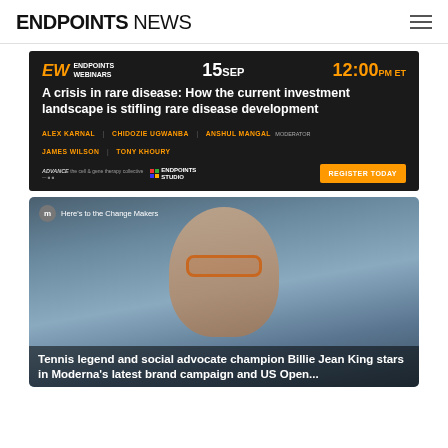ENDPOINTS NEWS
[Figure (infographic): Endpoints Webinars advertisement banner. Dark background. EW logo in orange. Date: 15 SEP. Time: 12:00 PM ET. Headline: A crisis in rare disease: How the current investment landscape is stifling rare disease development. Speakers: ALEX KARNAL, CHIDOZIE UGWANBA, ANSHUL MANGAL MODERATOR, JAMES WILSON, TONY KHOURY. Logos: ADVANCE (the cell & gene therapy collective), ENDPOINTS STUDIO. Register Today button in orange.]
[Figure (photo): Video thumbnail showing a person with short grey hair and orange-rimmed glasses, likely Billie Jean King, in a bluish-grey outdoor setting. Video label 'm Here's to the Change Makers' overlay at top.]
Tennis legend and social advocate champion Billie Jean King stars in Moderna's latest brand campaign and US Open...